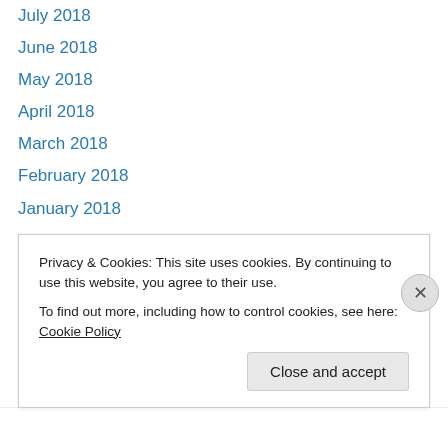July 2018
June 2018
May 2018
April 2018
March 2018
February 2018
January 2018
September 2017
August 2017
June 2017
April 2017
March 2017
February 2017
Privacy & Cookies: This site uses cookies. By continuing to use this website, you agree to their use.
To find out more, including how to control cookies, see here: Cookie Policy
Close and accept